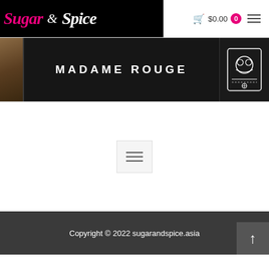Sugar & Spice — $0.00 0
[Figure (photo): Dark chalkboard sign reading MADAME ROUGE with a logo badge on the right, set against a brick wall background]
[Figure (other): Hamburger/menu icon button in a light gray box]
Copyright © 2022 sugarandspice.asia